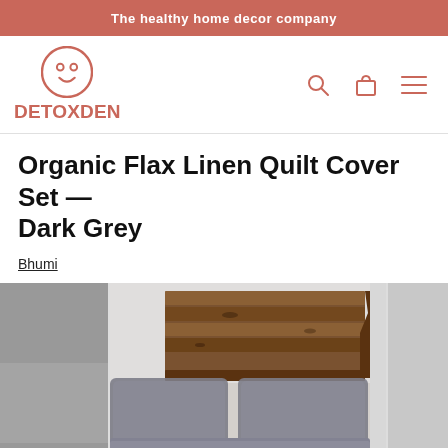The healthy home decor company
[Figure (logo): DetoxDen logo: circular face icon above text 'DETOXDEN' in terracotta/salmon color]
Organic Flax Linen Quilt Cover Set — Dark Grey
Bhumi
[Figure (photo): Product photo of dark grey linen bedding set on a bed with wooden headboard made of reclaimed planks]